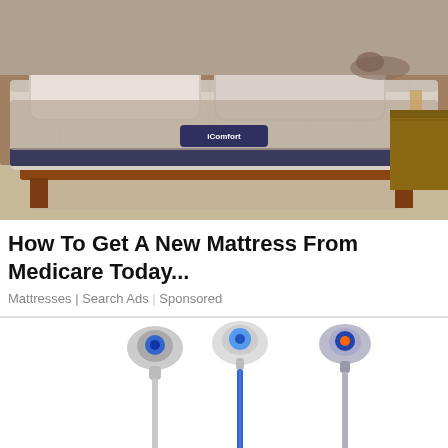[Figure (photo): Photo of a Serta iComfort mattress on a wooden bed frame in a bedroom setting with beige/neutral tones. Pillows and bedding visible. A nightstand is visible on the right.]
How To Get A New Mattress From Medicare Today...
Mattresses | Search Ads | Sponsored
[Figure (photo): Three cordless stick vacuum cleaners displayed side by side — one silver/white, one blue/white, one blue/orange — shown from the top portion with handles and motor heads visible against a white background.]